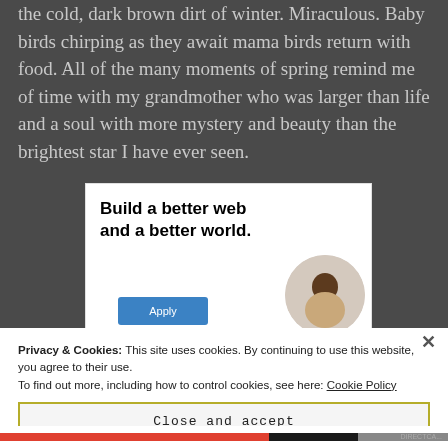the cold, dark brown dirt of winter. Miraculous. Baby birds chirping as they await mama birds return with food. All of the many moments of spring remind me of time with my grandmother who was larger than life and a soul with more mystery and beauty than the brightest star I have ever seen.
[Figure (other): Advertisement banner with text 'Build a better web and a better world.' with an Apply button and a person photo in a circle]
Privacy & Cookies: This site uses cookies. By continuing to use this website, you agree to their use. To find out more, including how to control cookies, see here: Cookie Policy
Close and accept